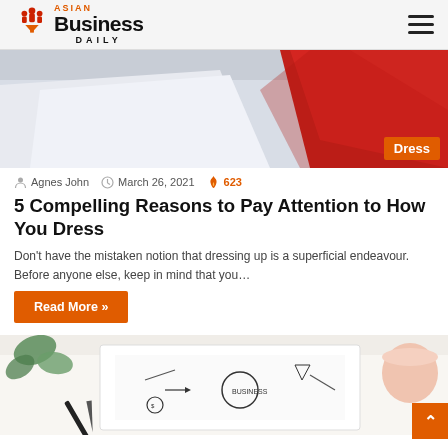Asian Business Daily
[Figure (photo): A red fabric draped on a surface, with a 'Dress' label badge in the bottom right corner.]
Agnes John  March 26, 2021  623
5 Compelling Reasons to Pay Attention to How You Dress
Don't have the mistaken notion that dressing up is a superficial endeavour. Before anyone else, keep in mind that you…
Read More »
[Figure (photo): A hand drawing business ideas on a notebook with a pen, surrounded by leaves and a pink cup.]